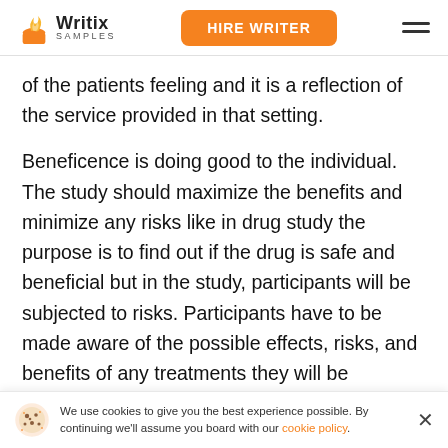Writix SAMPLES | HIRE WRITER
of the patients feeling and it is a reflection of the service provided in that setting.
Beneficence is doing good to the individual. The study should maximize the benefits and minimize any risks like in drug study the purpose is to find out if the drug is safe and beneficial but in the study, participants will be subjected to risks. Participants have to be made aware of the possible effects, risks, and benefits of any treatments they will be exposed to. Conduct research that in the end benefits society (Mandal, J., Acharya, S., & Parija, S. C exp
We use cookies to give you the best experience possible. By continuing we'll assume you board with our cookie policy.